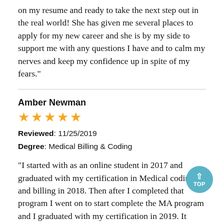on my resume and ready to take the next step out in the real world! She has given me several places to apply for my new career and she is by my side to support me with any questions I have and to calm my nerves and keep my confidence up in spite of my fears."
Amber Newman
[Figure (other): 5 gold star rating icons]
Reviewed: 11/25/2019
Degree: Medical Billing & Coding
"I started with as an online student in 2017 and graduated with my certification in Medical coding and billing in 2018. Then after I completed that program I went on to start complete the MA program and I graduated with my certification in 2019. It gives me the best opportunity to